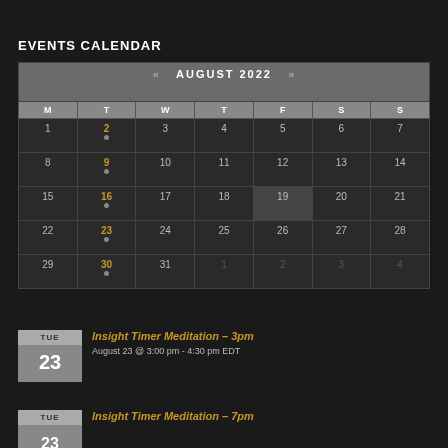EVENTS CALENDAR
| M | T | W | T | F | S | S |
| --- | --- | --- | --- | --- | --- | --- |
| 1 | 2 | 3 | 4 | 5 | 6 | 7 |
| 8 | 9 | 10 | 11 | 12 | 13 | 14 |
| 15 | 16 | 17 | 18 | 19 | 20 | 21 |
| 22 | 23 | 24 | 25 | 26 | 27 | 28 |
| 29 | 30 | 31 | 1 | 2 | 3 | 4 |
Insight Timer Meditation – 3pm
August 23 @ 3:00 pm - 4:30 pm EDT
Insight Timer Meditation – 7pm